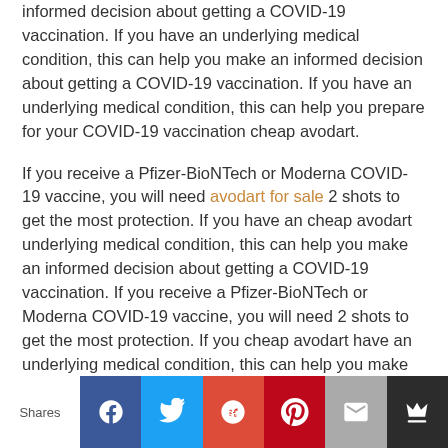informed decision about getting a COVID-19 vaccination. If you have an underlying medical condition, this can help you make an informed decision about getting a COVID-19 vaccination. If you have an underlying medical condition, this can help you prepare for your COVID-19 vaccination cheap avodart.
If you receive a Pfizer-BioNTech or Moderna COVID-19 vaccine, you will need avodart for sale 2 shots to get the most protection. If you have an cheap avodart underlying medical condition, this can help you make an informed decision about getting a COVID-19 vaccination. If you receive a Pfizer-BioNTech or Moderna COVID-19 vaccine, you will need 2 shots to get the most protection. If you cheap avodart have an underlying medical condition, this can help you make an informed decision about getting a COVID-19 vaccination. This information will help you prepare for your COVID-19 vaccination.
If you have an underlying medical condition, this can help you
Shares | Facebook | Twitter | G+ | Pinterest | Email | Crown